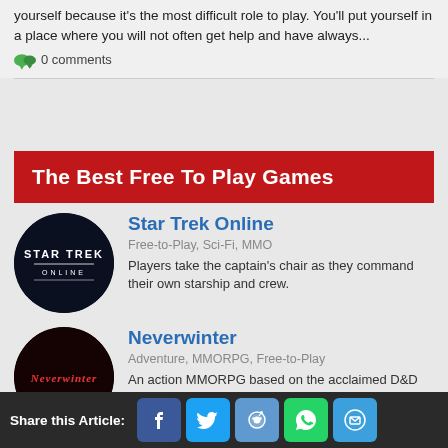yourself because it's the most difficult role to play. You'll put yourself in a place where you will not often get help and have always...
0 comments
The Best Free To Play Games
[Figure (logo): Star Trek Online circular game logo with dark blue/black background and white STAR TREK ONLINE text]
Star Trek Online
Free-to-Play, Sci-Fi, MMO
Players take the captain's chair as they command their own starship and crew.
[Figure (logo): Neverwinter circular game logo with dark red/black background and stylized Neverwinter text]
Neverwinter
Adventure, MMORPG, Free-to-Play
An action MMORPG based on the acclaimed D&D fantasy game, epic
Share this Article: